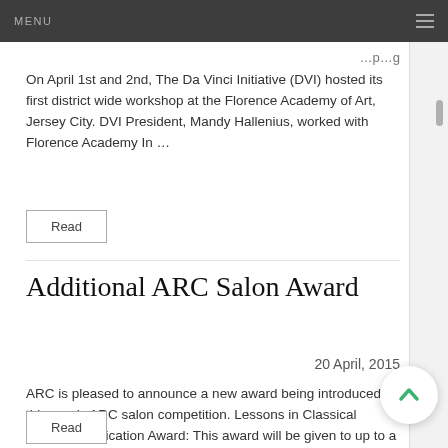MENU
On April 1st and 2nd, The Da Vinci Initiative (DVI) hosted its first district wide workshop at the Florence Academy of Art, Jersey City. DVI President, Mandy Hallenius, worked with Florence Academy In …
Read
Additional ARC Salon Award
20 April, 2015
ARC is pleased to announce a new award being introduced int this year's ARC salon competition. Lessons in Classical Painting Publication Award: This award will be given to up to a artists and consis …
Read